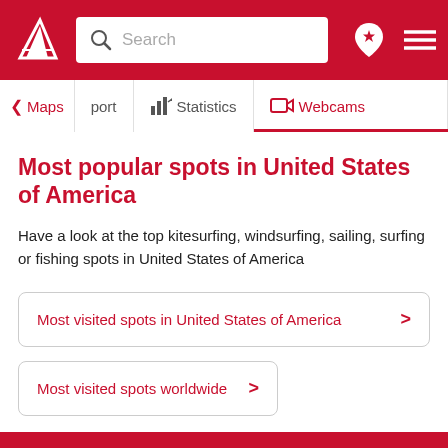Search — Navigation bar with Maps, port, Statistics, Webcams tabs
Most popular spots in United States of America
Have a look at the top kitesurfing, windsurfing, sailing, surfing or fishing spots in United States of America
Most visited spots in United States of America
Most visited spots worldwide
Additional information